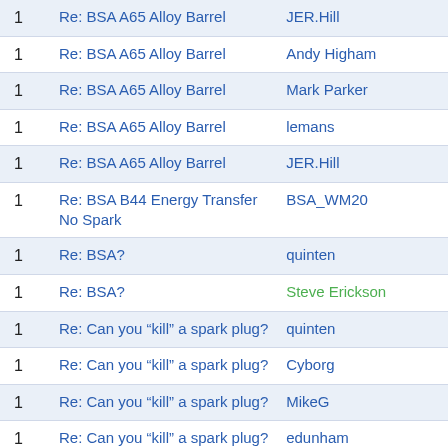| # | Subject | Author |
| --- | --- | --- |
| 1 | Re: BSA A65 Alloy Barrel | JER.Hill |
| 1 | Re: BSA A65 Alloy Barrel | Andy Higham |
| 1 | Re: BSA A65 Alloy Barrel | Mark Parker |
| 1 | Re: BSA A65 Alloy Barrel | lemans |
| 1 | Re: BSA A65 Alloy Barrel | JER.Hill |
| 1 | Re: BSA B44 Energy Transfer No Spark | BSA_WM20 |
| 1 | Re: BSA? | quinten |
| 1 | Re: BSA? | Steve Erickson |
| 1 | Re: Can you “kill” a spark plug? | quinten |
| 1 | Re: Can you “kill” a spark plug? | Cyborg |
| 1 | Re: Can you “kill” a spark plug? | MikeG |
| 1 | Re: Can you “kill” a spark plug? | edunham |
| 1 | Re: Can you “kill” a spark plug? | MikeG |
| 1 | Re: Can you “kill” a spark plug? | htown70 |
| 1 | Re: Can you “kill” a spark plug? | BSA_WM20 |